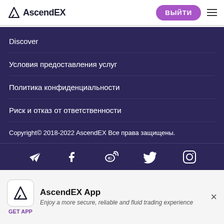AscendEX
Discover
Условия предоставления услуг
Политика конфиденциальности
Риск и отказ от ответственности
Copyright© 2018-2022 AscendEX Все права защищены.
[Figure (infographic): Social media icons row: Telegram, Facebook, Weibo, Twitter, Instagram]
AscendEX App — Enjoy a more secure, reliable and fluid trading experience — GET APP